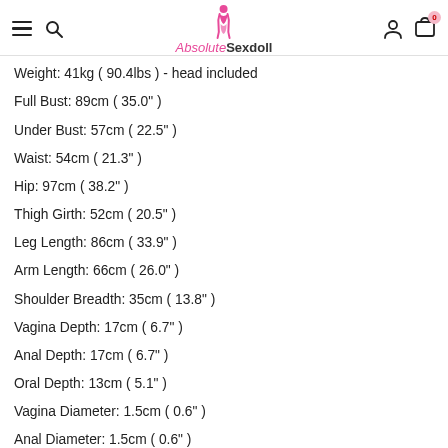AbsoluteSexdoll
Weight: 41kg ( 90.4lbs ) - head included
Full Bust: 89cm ( 35.0" )
Under Bust: 57cm ( 22.5" )
Waist: 54cm ( 21.3" )
Hip: 97cm ( 38.2" )
Thigh Girth: 52cm ( 20.5" )
Leg Length: 86cm ( 33.9" )
Arm Length: 66cm ( 26.0" )
Shoulder Breadth: 35cm ( 13.8" )
Vagina Depth: 17cm ( 6.7" )
Anal Depth: 17cm ( 6.7" )
Oral Depth: 13cm ( 5.1" )
Vagina Diameter: 1.5cm ( 0.6" )
Anal Diameter: 1.5cm ( 0.6" )